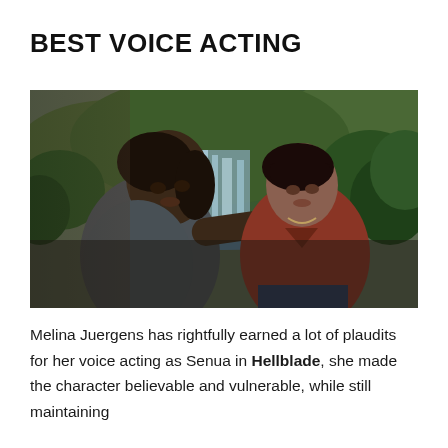BEST VOICE ACTING
[Figure (photo): Screenshot from a video game showing two female characters in a tropical jungle/waterfall setting. One character on the left has dark skin and hair in a ponytail, wearing a grey t-shirt. The character on the right has short dark hair, wearing a dark red v-neck shirt, resting her hand on the left character's shoulder. Lush green hills and a waterfall are visible in the background.]
Melina Juergens has rightfully earned a lot of plaudits for her voice acting as Senua in Hellblade, she made the character believable and vulnerable, while still maintaining